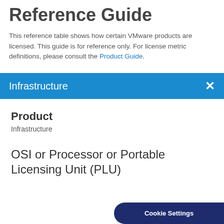Reference Guide
This reference table shows how certain VMware products are licensed. This guide is for reference only. For license metric definitions, please consult the Product Guide.
Infrastructure
Product
Infrastructure
OSI or Processor or Portable Licensing Unit (PLU)
Cookie Settings